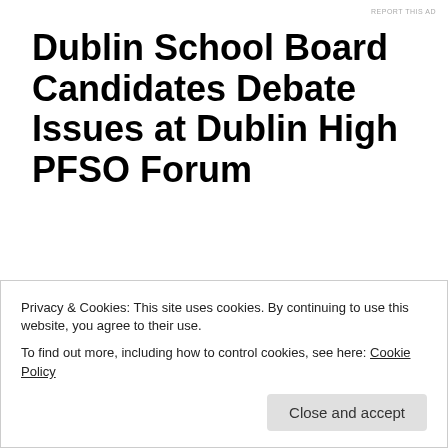REPORT THIS AD
Dublin School Board Candidates Debate Issues at Dublin High PFSO Forum
Posted by James Morehead
On Monday night, Dublin Unified School District candidates Dan Cunningham, Amy Miller, Austin Ogden and Greg Tomlinson met for a Candidates Forum hosted by the Dublin High School PFSO. The event included a
Privacy & Cookies: This site uses cookies. By continuing to use this website, you agree to their use.
To find out more, including how to control cookies, see here: Cookie Policy
Close and accept